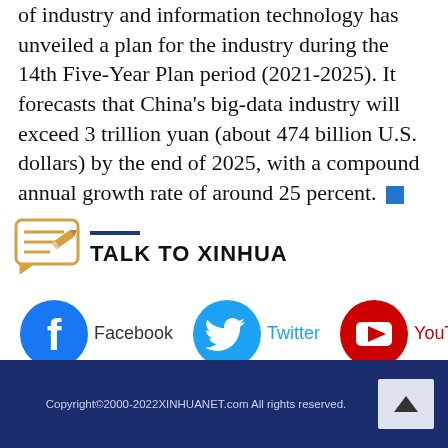of industry and information technology has unveiled a plan for the industry during the 14th Five-Year Plan period (2021-2025). It forecasts that China's big-data industry will exceed 3 trillion yuan (about 474 billion U.S. dollars) by the end of 2025, with a compound annual growth rate of around 25 percent.
TALK TO XINHUA
[Figure (logo): Facebook logo - blue circle with white F]
Facebook
[Figure (logo): Twitter logo - blue circle with white bird]
Twitter
[Figure (logo): YouTube logo - red circle with white play button]
YouTube
Copyright©2000-2022XINHUANET.com All rights reserved.